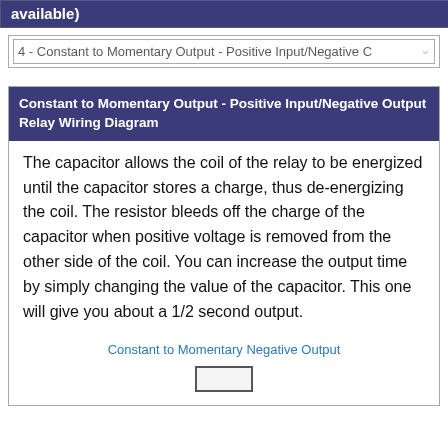available)
4 - Constant to Momentary Output - Positive Input/Negative C...
Constant to Momentary Output - Positive Input/Negative Output Relay Wiring Diagram
The capacitor allows the coil of the relay to be energized until the capacitor stores a charge, thus de-energizing the coil. The resistor bleeds off the charge of the capacitor when positive voltage is removed from the other side of the coil. You can increase the output time by simply changing the value of the capacitor. This one will give you about a 1/2 second output.
Constant to Momentary Negative Output
[Figure (schematic): Partial view of a relay wiring diagram rectangle/component at the bottom of the page]